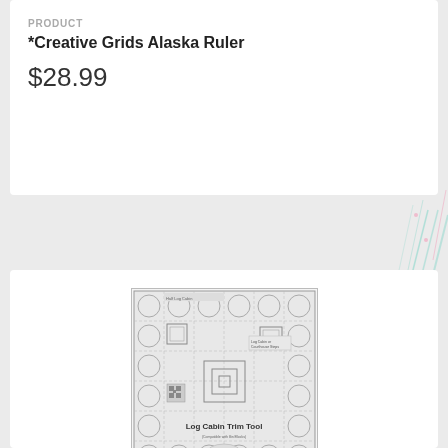PRODUCT
*Creative Grids Alaska Ruler
$28.99
[Figure (photo): Product photo of Creative Grids Log Cabin Trim Tool for 8in Finished Blocks Quilt Ruler — a square quilting ruler with grid lines, circles at corners, and 'Log Cabin Trim Tool' text printed on it]
PRODUCT
Creative Grids Log Cabin Trim Tool for 8in Finished Blocks Quilt Ruler
$24.49